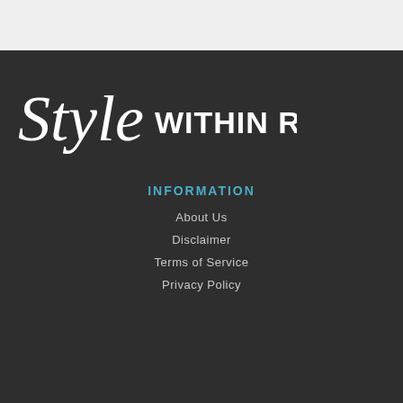[Figure (logo): Style Within Reach logo — cursive 'Style' in white script followed by 'WITHIN REACH' in bold white sans-serif capitals]
INFORMATION
About Us
Disclaimer
Terms of Service
Privacy Policy